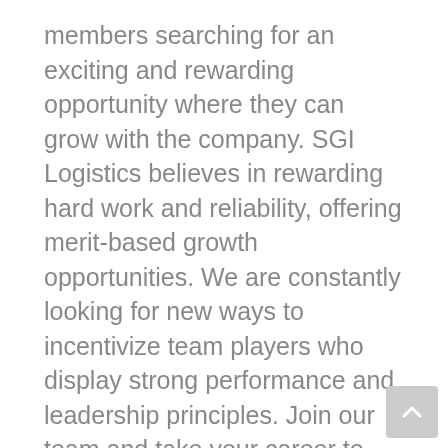members searching for an exciting and rewarding opportunity where they can grow with the company. SGI Logistics believes in rewarding hard work and reliability, offering merit-based growth opportunities. We are constantly looking for new ways to incentivize team players who display strong performance and leadership principles. Join our team and take your career to the next level.
What to expect:
• Starting Pay of $16.50/hour with bonus incentives and employee benefits package
• Merit-based employment with potential for